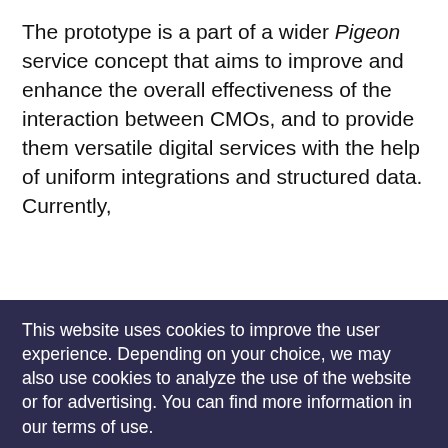The prototype is a part of a wider Pigeon service concept that aims to improve and enhance the overall effectiveness of the interaction between CMOs, and to provide them versatile digital services with the help of uniform integrations and structured data. Currently,
This website uses cookies to improve the user experience. Depending on your choice, we may also use cookies to analyze the use of the website or for advertising. You can find more information in our terms of use.
You can find more information in our terms of use.
Accept only essential cookies
Accept all